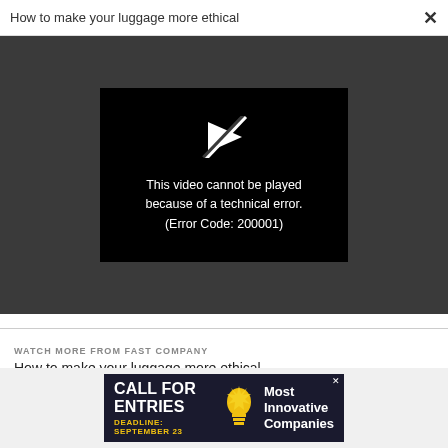How to make your luggage more ethical ×
[Figure (screenshot): Dark grey video player area with a black video error box containing a broken play icon and the message: This video cannot be played because of a technical error. (Error Code: 200001)]
WATCH MORE FROM FAST COMPANY
How to make your luggage more ethical
[Figure (screenshot): Advertisement banner: CALL FOR ENTRIES – DEADLINE: SEPTEMBER 23 – Most Innovative Companies (with lightbulb icon)]